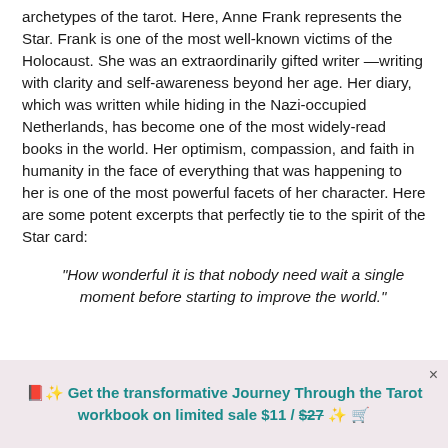archetypes of the tarot. Here, Anne Frank represents the Star. Frank is one of the most well-known victims of the Holocaust. She was an extraordinarily gifted writer —writing with clarity and self-awareness beyond her age. Her diary, which was written while hiding in the Nazi-occupied Netherlands, has become one of the most widely-read books in the world. Her optimism, compassion, and faith in humanity in the face of everything that was happening to her is one of the most powerful facets of her character. Here are some potent excerpts that perfectly tie to the spirit of the Star card:
“How wonderful it is that nobody need wait a single moment before starting to improve the world.”
📕✨ Get the transformative Journey Through the Tarot workbook on limited sale $11 / $27 ✨ 🛒